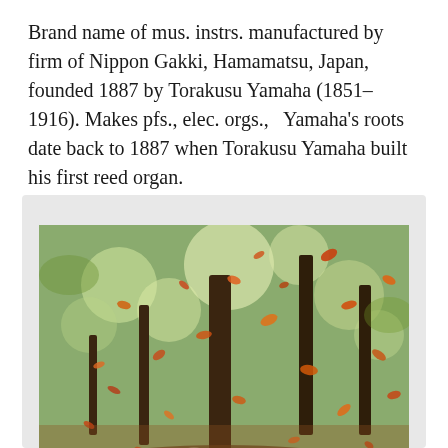Brand name of mus. instrs. manufactured by firm of Nippon Gakki, Hamamatsu, Japan, founded 1887 by Torakusu Yamaha (1851–1916). Makes pfs., elec. orgs.,  Yamaha's roots date back to 1887 when Torakusu Yamaha built his first reed organ.
[Figure (photo): Photograph of autumn leaves falling in a forest. Orange and brown leaves are scattered through the air against a blurred bokeh background of green trees and forest floor with warm earth tones.]